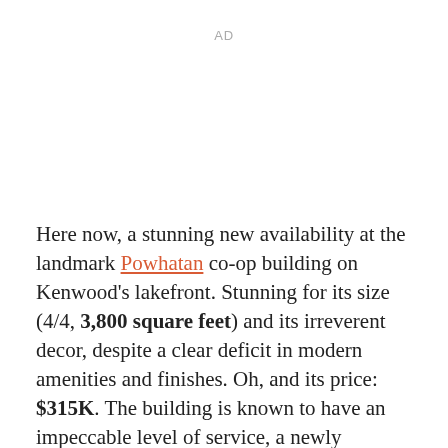AD
Here now, a stunning new availability at the landmark Powhatan co-op building on Kenwood's lakefront. Stunning for its size (4/4, 3,800 square feet) and its irreverent decor, despite a clear deficit in modern amenities and finishes. Oh, and its price: $315K. The building is known to have an impeccable level of service, a newly renovated Art Deco lobby and pool, and a famously handsome facade. This unit could be beautified to this level with a little work. Existing highlights includ